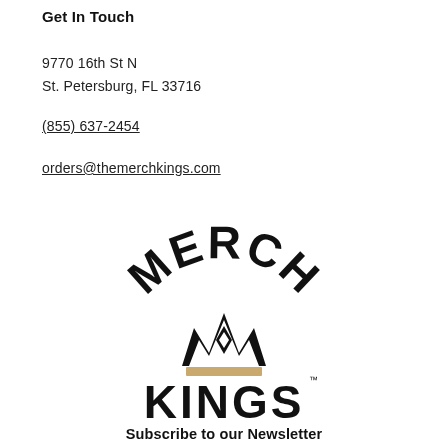Get In Touch
9770 16th St N
St. Petersburg, FL 33716
(855) 637-2454
orders@themerchkings.com
[Figure (logo): Merch Kings logo — 'MERCH' in bold arched text at top, crown icon with diamond in center, gold horizontal bar beneath crown, 'KINGS' in bold wide text at bottom with trademark symbol]
Subscribe to our Newsletter